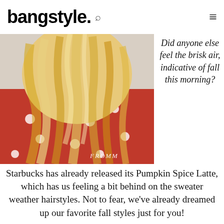bangstyle.
[Figure (photo): Back view of a woman with long wavy blonde hair, wearing a red top with white polka dots. Watermark reads FROMM in the bottom right.]
Did anyone else feel the brisk air, indicative of fall this morning?
Starbucks has already released its Pumpkin Spice Latte, which has us feeling a bit behind on the sweater weather hairstyles. Not to fear, we've already dreamed up our favorite fall styles just for you!
Notice
This website or its third-party tools use cookies. If you want to know more or withdraw your consent to all or some of the cookies, please refer to the
Accept